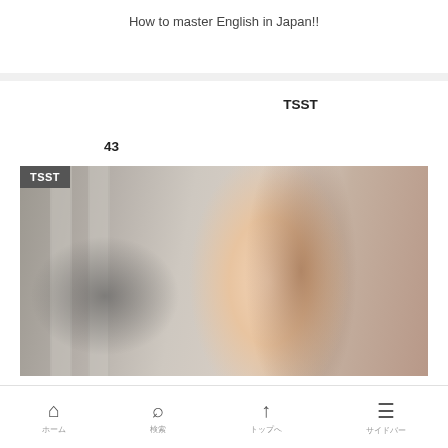How to master English in Japan!!
（Japanese subtitle text）
（Japanese article title）TSST（Japanese text）　43（Japanese character）
[Figure (photo): Woman holding a camera in front of classical stone columns, with TSST badge overlay in top-left corner]
ホーム　検索　トップへ　サイドバー